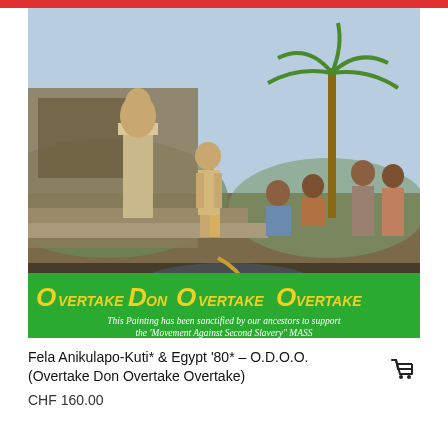[Figure (photo): Album cover for Fela Anikulapo-Kuti & Egypt '80 – O.D.O.O. (Overtake Don Overtake Overtake). The image shows a painted scene with a man standing near a stone pillar topped with a bust, surrounded by several people in a tropical setting with a palm tree. At the bottom is a green banner with yellow stylized text reading 'OVERTAKE DON OVERTAKE OVERTAKE' and white italic text below reading: 'This Painting has been sanctified by our ancestors to support the Movement Against Second Slavery MASS'.]
Fela Anikulapo-Kuti* & Egypt '80* – O.D.O.O. (Overtake Don Overtake Overtake)
CHF 160.00